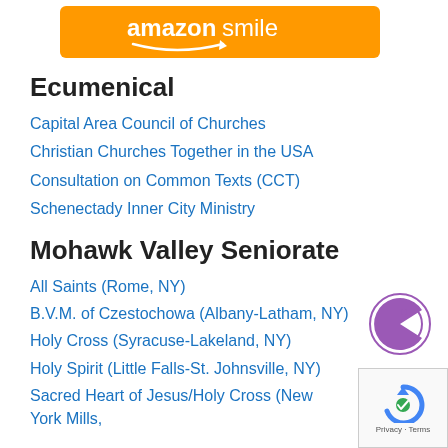[Figure (logo): Amazon Smile orange banner logo with white text and arrow smile]
Ecumenical
Capital Area Council of Churches
Christian Churches Together in the USA
Consultation on Common Texts (CCT)
Schenectady Inner City Ministry
Mohawk Valley Seniorate
All Saints (Rome, NY)
B.V.M. of Czestochowa (Albany-Latham, NY)
Holy Cross (Syracuse-Lakeland, NY)
Holy Spirit (Little Falls-St. Johnsville, NY)
Sacred Heart of Jesus/Holy Cross (New York Mills, NY)
Our Hometown